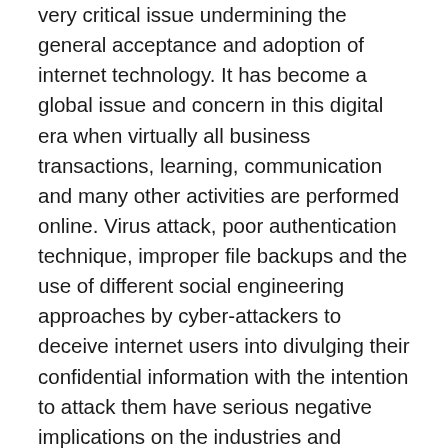very critical issue undermining the general acceptance and adoption of internet technology. It has become a global issue and concern in this digital era when virtually all business transactions, learning, communication and many other activities are performed online. Virus attack, poor authentication technique, improper file backups and the use of different social engineering approaches by cyber-attackers to deceive internet users into divulging their confidential information with the intention to attack them have serious negative implications on the industries and organisations, including educational institutions. Moreover, risks associated with these ugly phenomena are likely to be more in developing countries such as Nigeria. Thus, authors of this paper undertook an online pilot study among students and employees of University of Nigeria, Nsukka and a total of 145 responses were received and used for the study. The survey seeks to find out the effect of age and level of education on the cyber hygiene knowledge and behaviour of the respondents, and in addition, the type of devices used and activities they engage in while on the internet. Our findings show